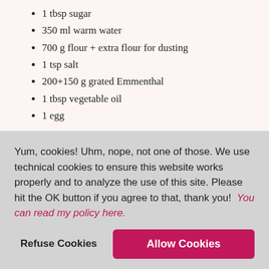1 tbsp sugar
350 ml warm water
700 g flour + extra flour for dusting
1 tsp salt
200+150 g grated Emmenthal
1 tbsp vegetable oil
1 egg
Instructions
Heat up a tablespoon of olive oil in a frying pan or wok and stir fry the spinach with a pinch of
Yum, cookies! Uhm, nope, not one of those. We use technical cookies to ensure this website works properly and to analyze the use of this site. Please hit the OK button if you agree to that, thank you!  You can read my policy here.
Refuse Cookies
Allow Cookies
bubbly.